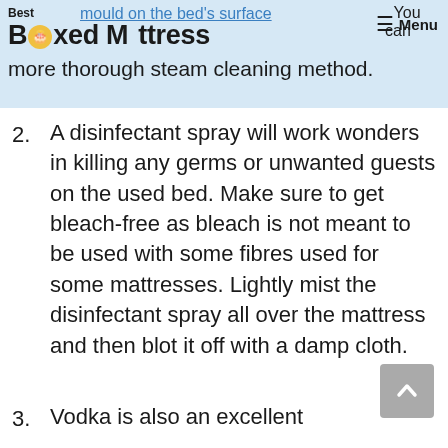Best Boxed Mattress — mould on the bed's surface. You can also try flipping your bed, which is a more thorough steam cleaning method.
2. A disinfectant spray will work wonders in killing any germs or unwanted guests on the used bed. Make sure to get bleach-free as bleach is not meant to be used with some fibres used for some mattresses. Lightly mist the disinfectant spray all over the mattress and then blot it off with a damp cloth.
3. Vodka is also an excellent